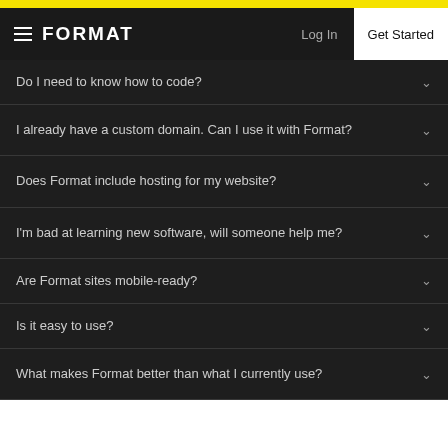FORMAT — Log In — Get Started
Do I need to know how to code?
I already have a custom domain. Can I use it with Format?
Does Format include hosting for my website?
I'm bad at learning new software, will someone help me?
Are Format sites mobile-ready?
Is it easy to use?
What makes Format better than what I currently use?